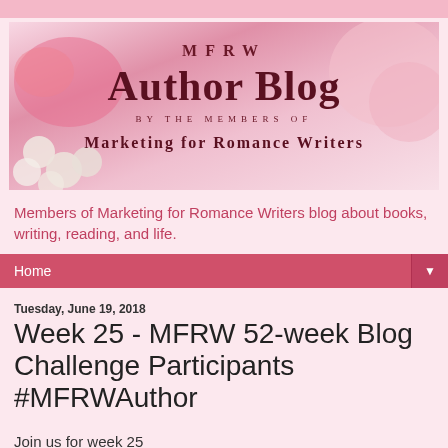[Figure (illustration): MFRW Author Blog banner image with pink/rose decorative background featuring pearls and flowers. Text reads: MFRW Author Blog by the members of Marketing for Romance Writers]
Members of Marketing for Romance Writers blog about books, writing, reading, and life.
Home ▼
Tuesday, June 19, 2018
Week 25 - MFRW 52-week Blog Challenge Participants #MFRWAuthor
Join us for week 25